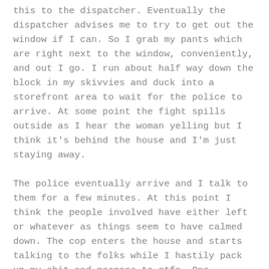this to the dispatcher. Eventually the dispatcher advises me to try to get out the window if I can. So I grab my pants which are right next to the window, conveniently, and out I go. I run about half way down the block in my skivvies and duck into a storefront area to wait for the police to arrive. At some point the fight spills outside as I hear the woman yelling but I think it's behind the house and I'm just staying away.
The police eventually arrive and I talk to them for a few minutes. At this point I think the people involved have either left or whatever as things seem to have calmed down. The cop enters the house and starts talking to the folks while I hastily pack up my shit and prepare to gtfo. One